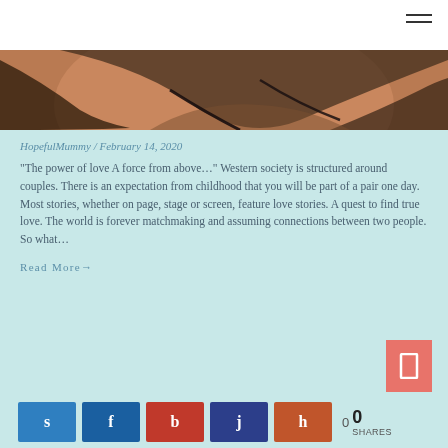[Figure (photo): Close-up photo of a person, warm skin tones with dark hair or fabric elements visible]
HopefulMummy / February 14, 2020
“The power of love A force from above…” Western society is structured around couples. There is an expectation from childhood that you will be part of a pair one day. Most stories, whether on page, stage or screen, feature love stories. A quest to find true love. The world is forever matchmaking and assuming connections between two people. So what…
Read More→